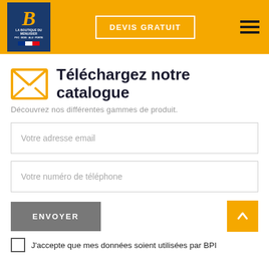[Figure (logo): La Boutique du Menuisier logo - blue box with orange B letter and company name]
DEVIS GRATUIT
Téléchargez notre catalogue
Découvrez nos différentes gammes de produit.
Votre adresse email
Votre numéro de téléphone
ENVOYER
J'accepte que mes données soient utilisées par BPI